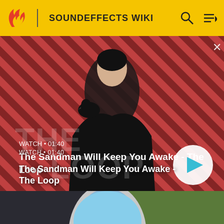SOUNDEFFECTS WIKI
[Figure (screenshot): Video thumbnail showing a pale man in black with a raven on his shoulder against a red and black diagonal striped background. Text overlay reads WATCH • 01:40 and 'The Sandman Will Keep You Awake - The Loop'. A circular play button is visible at lower right.]
[Figure (screenshot): Partial video thumbnail showing an animated scene with a child in a red hood looking through an oval porthole or mirror, with a blue sky and green siding visible.]